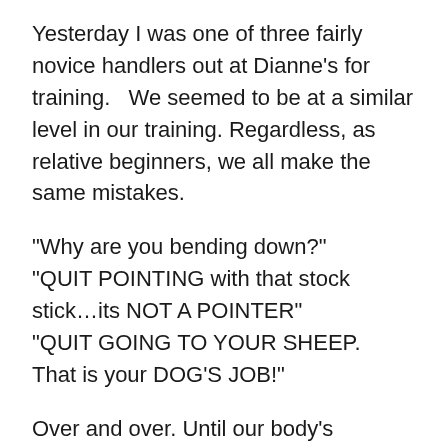Yesterday I was one of three fairly novice handlers out at Dianne's for training.   We seemed to be at a similar level in our training. Regardless, as relative beginners, we all make the same mistakes.
"Why are you bending down?"
"QUIT POINTING with that stock stick…its NOT A POINTER"
"QUIT GOING TO YOUR SHEEP.  That is your DOG'S JOB!"
Over and over. Until our body's assimilate some sort of muscle memory and natural timing and we naturally react the right way to our dog's mistakes, we are in for a long bent over trek down wrong flank road.  In an effort to simplify the training process and save Dianne from turning to strong drink or…drugs, I was thinking that there should